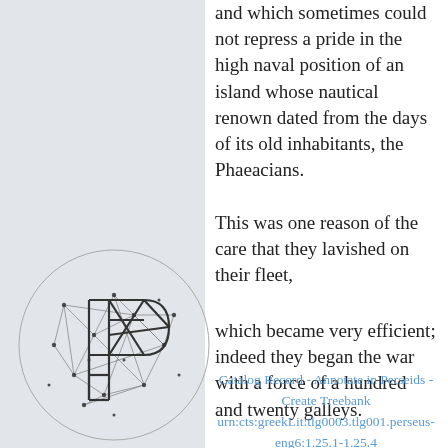and which sometimes could not repress a pride in the high naval position of an island whose nautical renown dated from the days of its old inhabitants, the Phaeacians.
This was one reason of the care that they lavished on their fleet,
which became very efficient; indeed they began the war with a force of a hundred and twenty galleys.
[Figure (logo): Perseus Digital Library logo: geometric wireframe letter P inside a circle with network/constellation style lines and dots]
Catalog Record - Annotate in Perseids - Create Treebank urn:cts:greekLit:tlg0003.tlg001.perseus-eng6:1.25.1-1.25.4